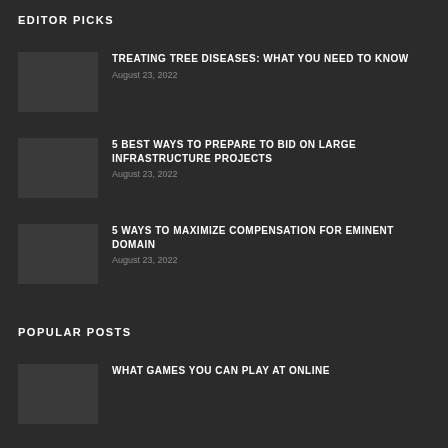EDITOR PICKS
TREATING TREE DISEASES: WHAT YOU NEED TO KNOW
August 23, 2022
5 BEST WAYS TO PREPARE TO BID ON LARGE INFRASTRUCTURE PROJECTS
August 23, 2022
5 WAYS TO MAXIMIZE COMPENSATION FOR EMINENT DOMAIN
August 23, 2022
POPULAR POSTS
WHAT GAMES YOU CAN PLAY AT ONLINE